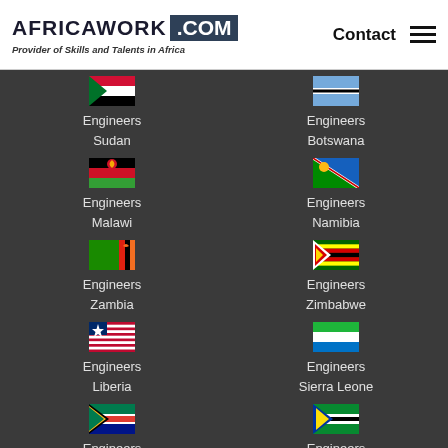AFRICAWORK .COM - Provider of Skills and Talents in Africa | Contact
Engineers Sudan
Engineers Botswana
Engineers Malawi
Engineers Namibia
Engineers Zambia
Engineers Zimbabwe
Engineers Liberia
Engineers Sierra Leone
Engineers South Africa
Engineers South Sudan